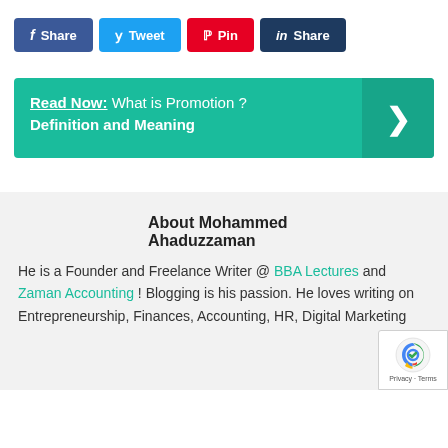[Figure (infographic): Social media share buttons: Facebook Share, Twitter Tweet, Pinterest Pin, LinkedIn Share]
Read Now: What is Promotion ? Definition and Meaning
About Mohammed Ahaduzzaman
He is a Founder and Freelance Writer @ BBA Lectures and Zaman Accounting ! Blogging is his passion. He loves writing on Entrepreneurship, Finances, Accounting, HR, Digital Marketing